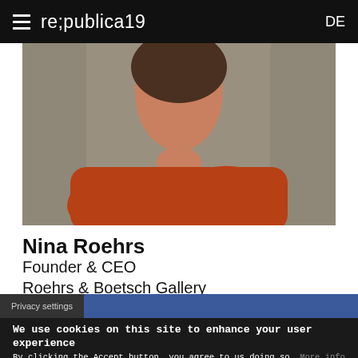re;publica19  DE
[Figure (photo): Portrait photo of Nina Roehrs, a woman wearing a rust/brick-red v-neck cardigan over a white shirt, arms crossed, photographed from shoulders up against a blurred background.]
Nina Roehrs
Founder & CEO
Roehrs & Boetsch Gallery
Privacy settings
We use cookies on this site to enhance your user experience
By clicking the Accept button, you agree to us doing so. More info